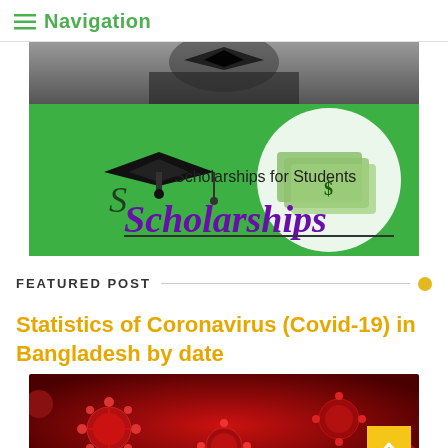≡ Navigation
[Figure (photo): Top portion of a banner showing a graduate student in cap and gown, partially cropped]
[Figure (photo): Green banner with a graduation cap illustration and dollar bills, text reads 'Scholarships for Students' and 'Scholarships' in purple bold font]
FEATURED POST
Statistics of Coronavirus (Covid-19) in Bangladesh by date
[Figure (photo): Close-up red-tinted image of coronavirus particles/molecules on a dark red background]